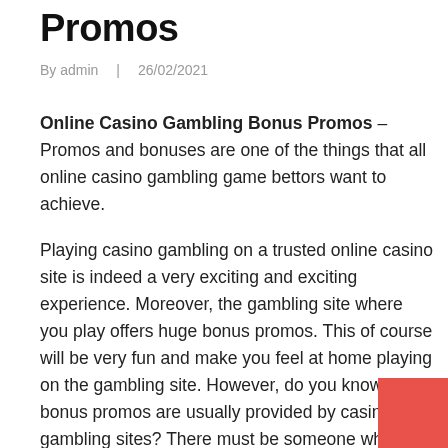Promos
By admin  |  26/02/2021
Online Casino Gambling Bonus Promos – Promos and bonuses are one of the things that all online casino gambling game bettors want to achieve.
Playing casino gambling on a trusted online casino site is indeed a very exciting and exciting experience. Moreover, the gambling site where you play offers huge bonus promos. This of course will be very fun and make you feel at home playing on the gambling site. However, do you know what bonus promos are usually provided by casino gambling sites? There must be someone who doesn't know. And curious about this, then on this occasion we will provide a full review below.
[Figure (other): Red square decorative block in bottom-right corner]